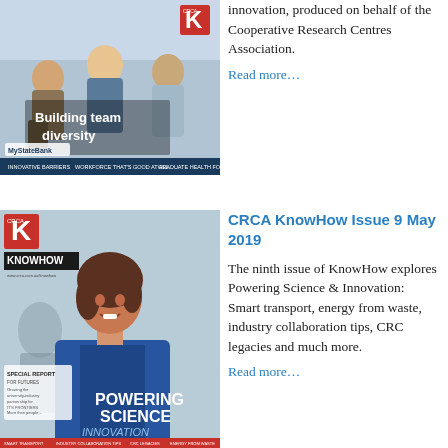[Figure (photo): Magazine cover of CRCA KnowHow showing 'Building team diversity' with three people sitting, MyStateBank logo at bottom]
innovation, produced on behalf of the Cooperative Research Centres Association. Read more...
[Figure (photo): Magazine cover of CRCA KnowHow Issue 9, featuring a woman in a blue blazer smiling, with text 'Powering Science Innovation']
CRCA KnowHow Issue 9 May 2019
The ninth issue of KnowHow explores Powering Science & Innovation: Smart transport, energy from waste, industry collaboration tips, CRC legacies and much more. Read more...